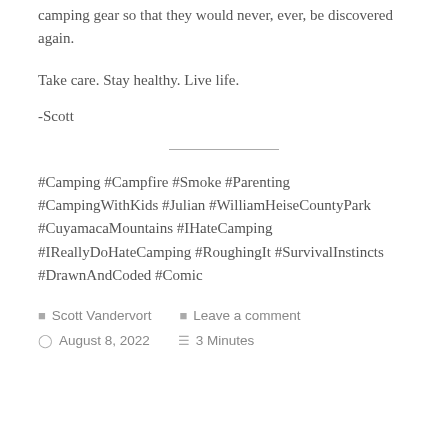camping gear so that they would never, ever, be discovered again.
Take care. Stay healthy. Live life.
-Scott
#Camping #Campfire #Smoke #Parenting #CampingWithKids #Julian #WilliamHeiseCountyPark #CuyamacaMountains #IHateCamping #IReallyDoHateCamping #RoughingIt #SurvivalInstincts #DrawnAndCoded #Comic
Scott Vandervort   Leave a comment   August 8, 2022   3 Minutes